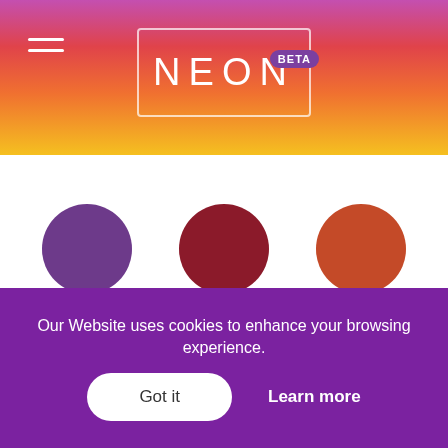NEON BETA
[Figure (illustration): Three color circles partially visible at top: VIOLET (purple circle), RUBY (dark red circle), COPPER (orange-red circle) with labels below each]
VIOLET
RUBY
COPPER
[Figure (illustration): Gold yellow circle]
GOLD
Our Website uses cookies to enhance your browsing experience.
Got it
Learn more